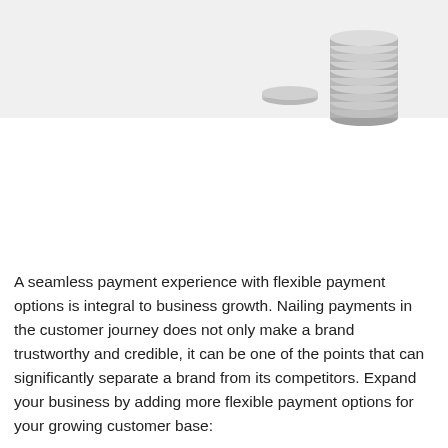[Figure (photo): A light gray banner background with two stacks of coins on the right side — a smaller flat stack and a taller stack of silver coins, suggesting financial growth.]
A seamless payment experience with flexible payment options is integral to business growth. Nailing payments in the customer journey does not only make a brand trustworthy and credible, it can be one of the points that can significantly separate a brand from its competitors. Expand your business by adding more flexible payment options for your growing customer base: